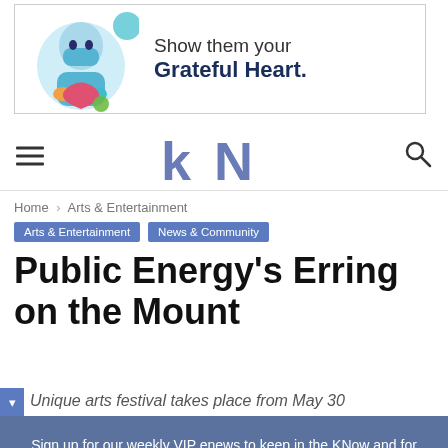[Figure (infographic): Advertisement banner with illustrated healthcare worker holding a heart, text reading 'Show them your Grateful Heart.']
kN — navigation header with hamburger menu and search icon
Home › Arts & Entertainment
Arts & Entertainment
News & Community
Public Energy's Erring on the Mount
Unique arts festival takes place from May 30
Sign up for our weekly VIP enews to keep in the KNow and for exclusive giveaways!
Your email address..
SUBSCRIBE